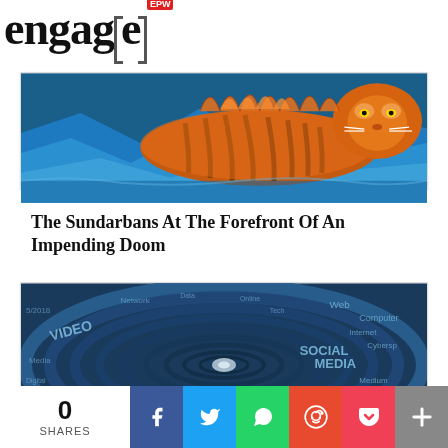engage EPW
[Figure (illustration): Colorful painting of a tiger in water with blue and orange tones]
The Sundarbans At The Forefront Of An Impending Doom
[Figure (photo): Social media word cloud tunnel image with text including VIDEO, SOCIAL MEDIA, Web, Computer, Internet, Cyberspace]
0 SHARES
[Figure (infographic): Social share buttons: Facebook, Twitter, WhatsApp, Reddit, Pocket, More]